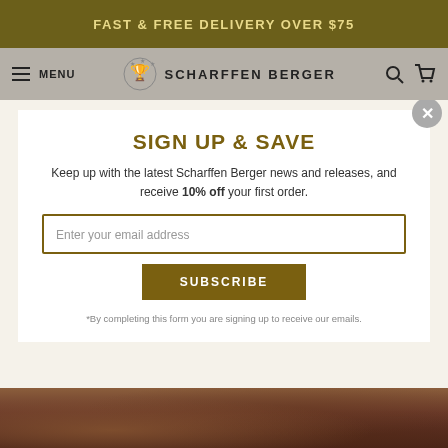FAST & FREE DELIVERY OVER $75
[Figure (screenshot): Scharffen Berger navigation bar with hamburger menu, logo with goblet icon, search and cart icons]
SIGN UP & SAVE
Keep up with the latest Scharffen Berger news and releases, and receive 10% off your first order.
Enter your email address
SUBSCRIBE
*By completing this form you are signing up to receive our emails.
[Figure (photo): Close-up photo of dark chocolate cake or cocoa powder with chocolate drizzle]